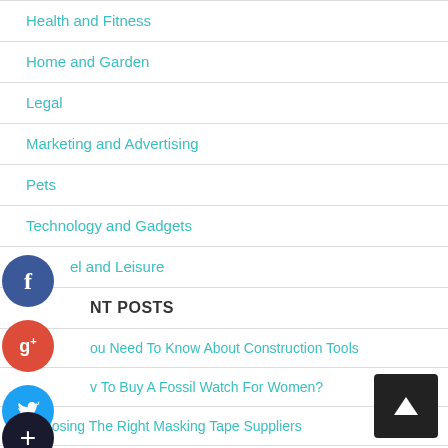Health and Fitness
Home and Garden
Legal
Marketing and Advertising
Pets
Technology and Gadgets
Travel and Leisure
RECENT POSTS
You Need To Know About Construction Tools
How To Buy A Fossil Watch For Women?
Choosing The Right Masking Tape Suppliers
Best socks to use with supercut tools